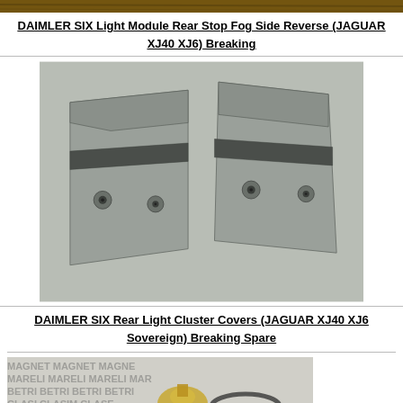[Figure (photo): Top partial photo showing a wooden surface, cropped at top of page]
DAIMLER SIX Light Module Rear Stop Fog Side Reverse (JAGUAR XJ40 XJ6) Breaking
[Figure (photo): Photo of two grey plastic rear light cluster covers for Daimler Six / Jaguar XJ40 XJ6, shown side by side on a concrete surface]
DAIMLER SIX Rear Light Cluster Covers (JAGUAR XJ40 XJ6 Sovereign) Breaking Spare
[Figure (photo): Partial bottom photo showing a vintage/antique item with watermark text overlay]